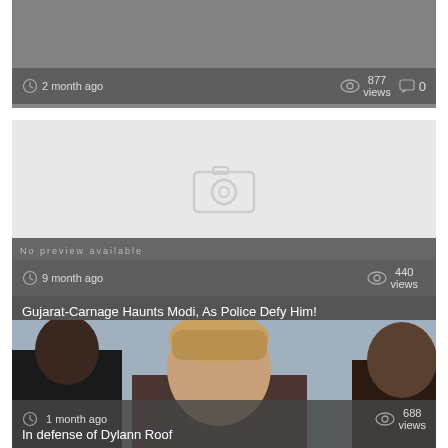[Figure (screenshot): Video card 1: dark grey thumbnail area, showing '2 month ago', 877 views, 0 comments]
[Figure (screenshot): Video card 2: light grey placeholder thumbnail with camera icon, 9 month ago, 440 views, title: Gujarat-Carnage Haunts Modi, As Police Defy Him!]
[Figure (screenshot): Video card 3: photo of people, 1 month ago, 688 views, title: In defense of Dylann Roof]